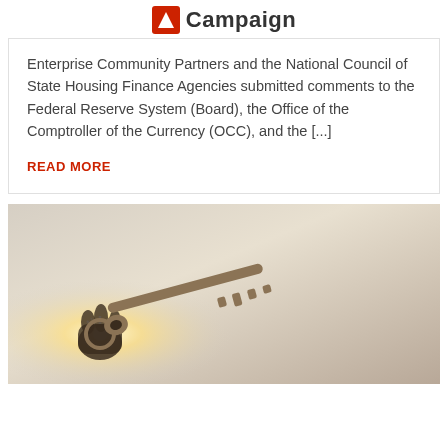Campaign
Enterprise Community Partners and the National Council of State Housing Finance Agencies submitted comments to the Federal Reserve System (Board), the Office of the Comptroller of the Currency (OCC), and the [...]
READ MORE
[Figure (photo): A hand holding a key up against a bright sunlit sky, with a starburst of light shining through the key ring.]